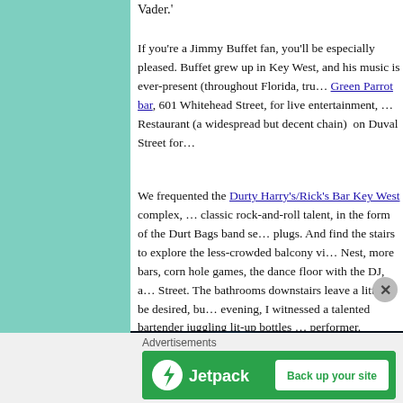Vader.'
If you're a Jimmy Buffet fan, you'll be especially pleased. Buffet grew up in Key West, and his music is ever-present (throughout Florida, tru… Green Parrot bar, 601 Whitehead Street, for live entertainment, … Restaurant (a widespread but decent chain)  on Duval Street for…
We frequented the Durty Harry's/Rick's Bar Key West complex, … classic rock-and-roll talent, in the form of the Durt Bags band se… plugs. And find the stairs to explore the less-crowded balcony vi… Nest, more bars, corn hole games, the dance floor with the DJ, a… Street. The bathrooms downstairs leave a little to be desired, bu… evening, I witnessed a talented bartender juggling lit-up bottles … performer.
[Figure (photo): Dark photo of a glowing bottle being juggled, lit up in blue/cyan light against a dark background]
Advertisements
[Figure (other): Jetpack advertisement banner with green background, Jetpack logo and 'Back up your site' button]